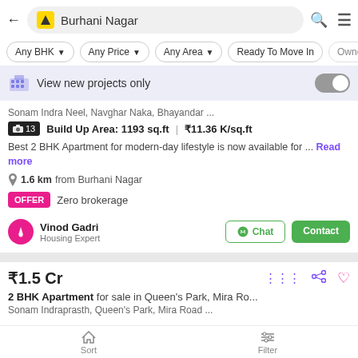Burhani Nagar
Any BHK
Any Price
Any Area
Ready To Move In
Owner
View new projects only
Sonam Indra Neel, Navghar Naka, Bhayandar ...
Build Up Area: 1193 sq.ft  |  ₹11.36 K/sq.ft
Best 2 BHK Apartment for modern-day lifestyle is now available for ... Read more
1.6 km from Burhani Nagar
OFFER  Zero brokerage
Vinod Gadri
Housing Expert
₹1.5 Cr
2 BHK Apartment for sale in Queen's Park, Mira Ro...
Sonam Indraprasth, Queen's Park, Mira Road ...